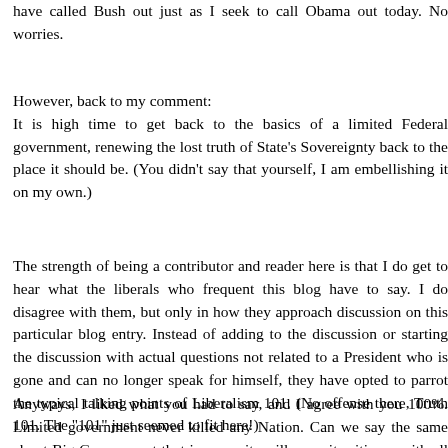have called Bush out just as I seek to call Obama out today. No worries.
However, back to my comment:
It is high time to get back to the basics of a limited Federal government, renewing the lost truth of State's Sovereignty back to the place it should be. (You didn't say that yourself, I am embellishing it on my own.)
The strength of being a contributor and reader here is that I do get to hear what the liberals who frequent this blog have to say. I do disagree with them, but only in how they approach discussion on this particular blog entry. Instead of adding to the discussion or starting the discussion with actual questions not related to a President who is gone and can no longer speak for himself, they have opted to parrot the typical talking points of Liberalism 101. (No offense there, Truth 101. The "101" just seemed to fit here!)
Anyways, I liked what you had to say, and I agree with you 100%. Limited government never killed any Nation. Can we say the same about Big Government that imposes its will upon its citizens with all the subtlety and finesse of a bull in